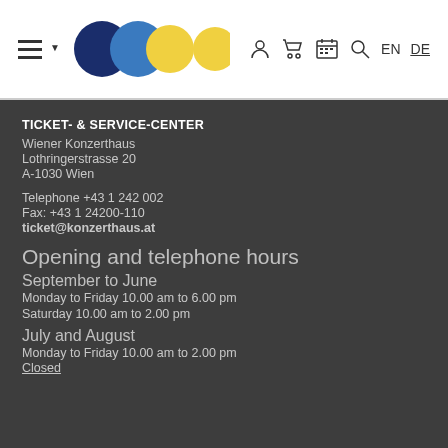Wiener Konzerthaus navigation header with logo and EN/DE language switcher
TICKET- & SERVICE-CENTER
Wiener Konzerthaus
Lothringerstrasse 20
A-1030 Wien
Telephone +43 1 242 002
Fax: +43 1 24200-110
ticket@konzerthaus.at
Opening and telephone hours
September to June
Monday to Friday 10.00 am to 6.00 pm
Saturday 10.00 am to 2.00 pm
July and August
Monday to Friday 10.00 am to 2.00 pm
Closed